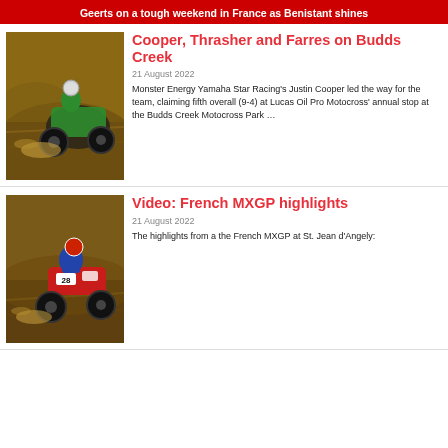Geerts on a tough weekend in France as Benistant shines
Cooper, Thrasher and Farres on Budds Creek
21 August 2022
Monster Energy Yamaha Star Racing's Justin Cooper led the way for the team, claiming fifth overall (9-4) at Lucas Oil Pro Motocross' annual stop at the Budds Creek Motocross Park …
[Figure (photo): Motocross rider on green Kawasaki bike racing on a dirt track]
Video: French MXGP highlights
21 August 2022
The highlights from a the French MXGP at St. Jean d'Angely:
[Figure (photo): Motocross rider number 28 on red KTM bike racing on a dirt track]